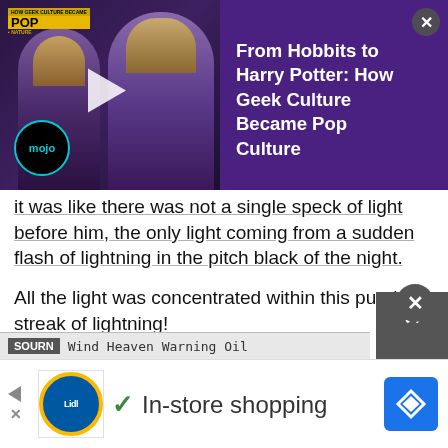[Figure (screenshot): Video thumbnail overlay showing WatchMojo logo, two silhouetted figures (Frodo and Harry Potter), a play button, and the Mojo logo circle at bottom left. Purple background.]
From Hobbits to Harry Potter: How Geek Culture Became Pop Culture
it was like there was not a single speck of light before him, the only light coming from a sudden flash of lightning in the pitch black of the night.
All the light was concentrated within this purple streak of lightning!
A cold and decisive killing intent caused the lightning to not contain any blazing heat whatsoever, instead being bone-numbingly cold!
This streak of lightning, however, did not disorient Yan Zhaoge.
Not slower than Yan Shan in the least, Yan Zhaoge abruptly moved!
Wind Heaven Warning Oil
[Figure (screenshot): Bottom advertisement banner showing Lidl logo, checkmark with 'In-store shopping' text, and a blue navigation/directions button icon. Includes a dismiss X button and back-to-top chevron button.]